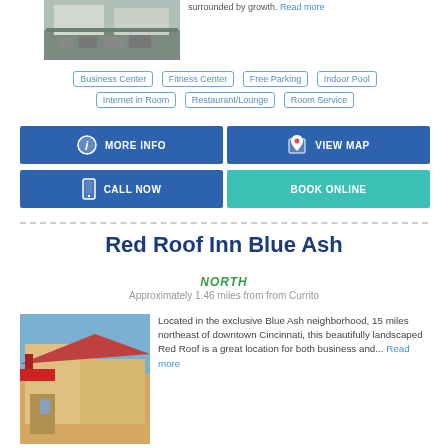[Figure (photo): Exterior photo of a hotel building with parking lot]
surrounded by growth. Read more
Business Center
Fitness Center
Free Parking
Indoor Pool
Internet in Room
Restaurant/Lounge
Room Service
MORE INFO
VIEW MAP
CALL NOW
BOOK ONLINE
Red Roof Inn Blue Ash
NORTH
Approximately 1.46 miles from from Currito
[Figure (photo): Exterior photo of Red Roof Inn Blue Ash showing red roof and building facade]
Located in the exclusive Blue Ash neighborhood, 15 miles northeast of downtown Cincinnati, this beautifully landscaped Red Roof is a great location for both business and... Read more